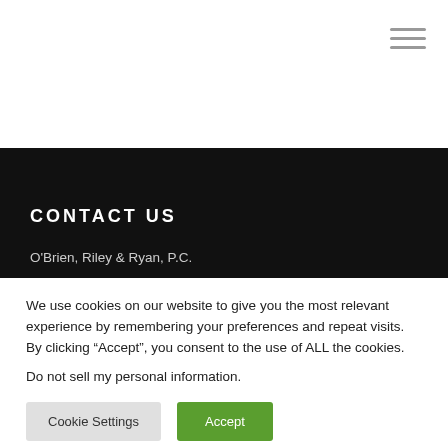CONTACT US
O'Brien, Riley & Ryan, P.C.
We use cookies on our website to give you the most relevant experience by remembering your preferences and repeat visits. By clicking “Accept”, you consent to the use of ALL the cookies.
Do not sell my personal information.
Cookie Settings   Accept